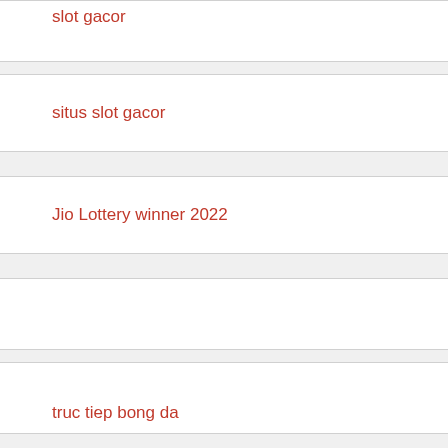slot gacor
situs slot gacor
Jio Lottery winner 2022
truc tiep bong da